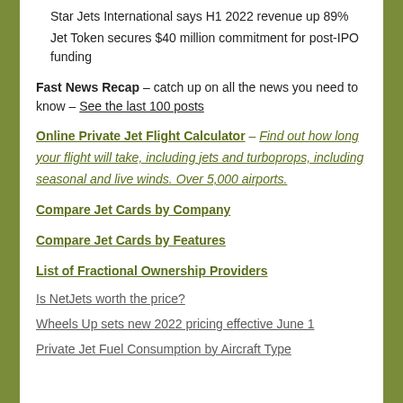Star Jets International says H1 2022 revenue up 89%
Jet Token secures $40 million commitment for post-IPO funding
Fast News Recap – catch up on all the news you need to know – See the last 100 posts
Online Private Jet Flight Calculator – Find out how long your flight will take, including jets and turboprops, including seasonal and live winds. Over 5,000 airports.
Compare Jet Cards by Company
Compare Jet Cards by Features
List of Fractional Ownership Providers
Is NetJets worth the price?
Wheels Up sets new 2022 pricing effective June 1
Private Jet Fuel Consumption by Aircraft Type